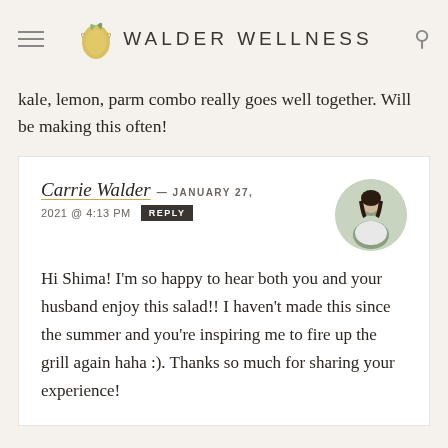WALDER WELLNESS
kale, lemon, parm combo really goes well together. Will be making this often!
Carrie Walder — JANUARY 27, 2021 @ 4:13 PM REPLY
Hi Shima! I'm so happy to hear both you and your husband enjoy this salad!! I haven't made this since the summer and you're inspiring me to fire up the grill again haha :). Thanks so much for sharing your experience!